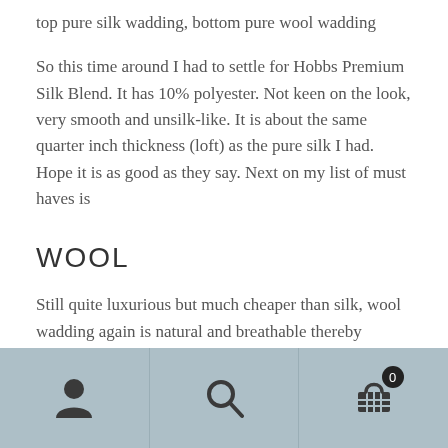top pure silk wadding, bottom pure wool wadding
So this time around I had to settle for Hobbs Premium Silk Blend. It has 10% polyester. Not keen on the look, very smooth and unsilk-like. It is about the same quarter inch thickness (loft) as the pure silk I had. Hope it is as good as they say. Next on my list of must haves is
WOOL
Still quite luxurious but much cheaper than silk, wool wadding again is natural and breathable thereby meeting my two tests for ‘will I like this wadding?’ It will keep you cool in summer and warm in winter, without bulk. Some
icons: user, search, cart (0)